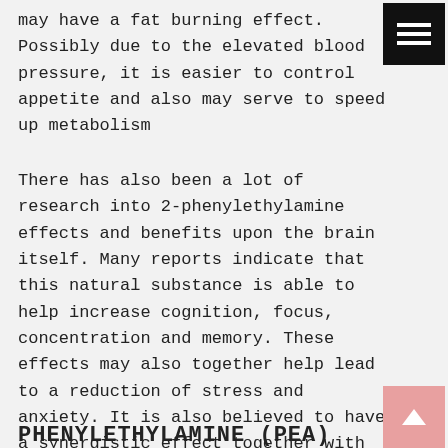may have a fat burning effect. Possibly due to the elevated blood pressure, it is easier to control appetite and also may serve to speed up metabolism
There has also been a lot of research into 2-phenylethylamine effects and benefits upon the brain itself. Many reports indicate that this natural substance is able to help increase cognition, focus, concentration and memory. These effects may also together help lead to a reduction of stress and anxiety. It is also believed to have a synergistic effect together with Aniracetam or Oxiracetam.
PHENYLETHYLAMINE (PEA)